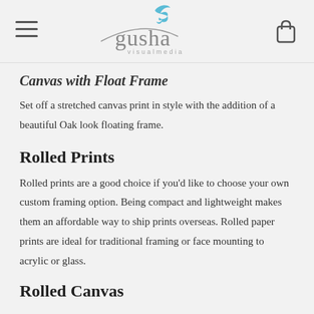gusha visual media
Canvas with Float Frame
Set off a stretched canvas print in style with the addition of a beautiful Oak look floating frame.
Rolled Prints
Rolled prints are a good choice if you’d like to choose your own custom framing option. Being compact and lightweight makes them an affordable way to ship prints overseas. Rolled paper prints are ideal for traditional framing or face mounting to acrylic or glass.
Rolled Canvas